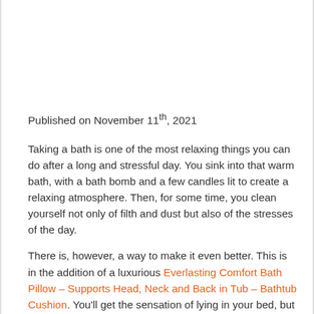Published on November 11th, 2021
Taking a bath is one of the most relaxing things you can do after a long and stressful day. You sink into that warm bath, with a bath bomb and a few candles lit to create a relaxing atmosphere. Then, for some time, you clean yourself not only of filth and dust but also of the stresses of the day.
There is, however, a way to make it even better. This is in the addition of a luxurious Everlasting Comfort Bath Pillow – Supports Head, Neck and Back in Tub – Bathtub Cushion. You'll get the sensation of lying in your bed, but with an aqueous comfort. Nonetheless, you must choose the right bath pillow to ensure that you get...